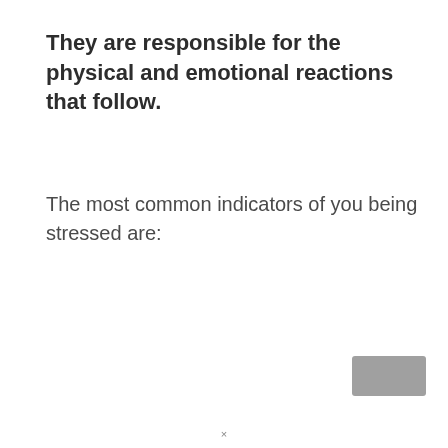They are responsible for the physical and emotional reactions that follow.
The most common indicators of you being stressed are: